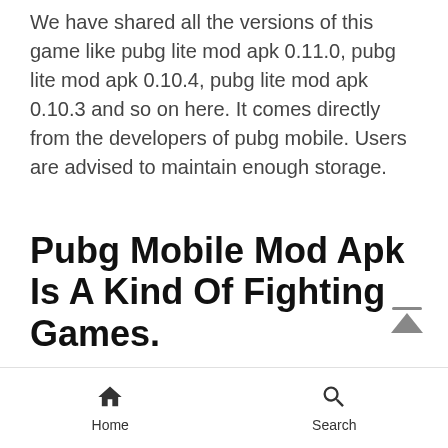We have shared all the versions of this game like pubg lite mod apk 0.11.0, pubg lite mod apk 0.10.4, pubg lite mod apk 0.10.3 and so on here. It comes directly from the developers of pubg mobile. Users are advised to maintain enough storage.
Pubg Mobile Mod Apk Is A Kind Of Fighting Games.
Pubg mobile lite mod apk unlimited (money, bc, and uc) | bahon apk level infinite version 0.22.0
Home  Search